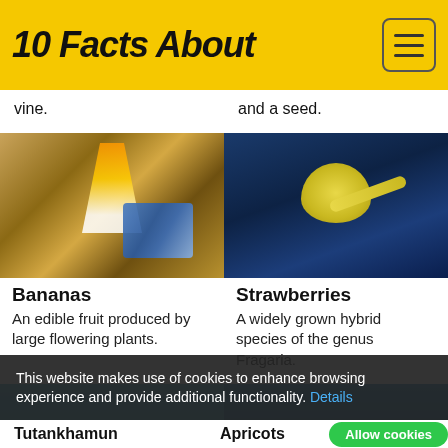10 Facts About
vine.
and a seed.
[Figure (photo): A hand holding a burning $100 bill]
Bananas
An edible fruit produced by large flowering plants.
[Figure (photo): A peeled lemon or yellow fruit against dark blue background]
Strawberries
A widely grown hybrid species of the genus Fragaria.
[Figure (photo): A seagull-like bird near water with a pole]
[Figure (photo): A person in water with splashes]
This website makes use of cookies to enhance browsing experience and provide additional functionality. Details
Tutankhamun
Apricots